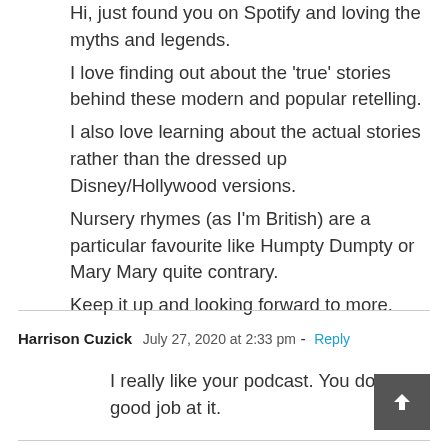Hi, just found you on Spotify and loving the myths and legends. I love finding out about the 'true' stories behind these modern and popular retelling. I also love learning about the actual stories rather than the dressed up Disney/Hollywood versions. Nursery rhymes (as I'm British) are a particular favourite like Humpty Dumpty or Mary Mary quite contrary. Keep it up and looking forward to more.
Harrison Cuzick   July 27, 2020 at 2:33 pm - Reply
I really like your podcast. You do a good job at it.